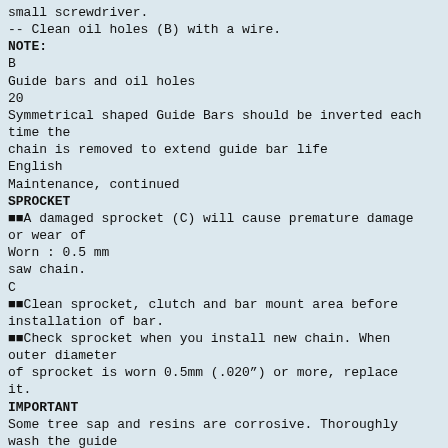-- small screwdriver.
-- Clean oil holes (B) with a wire.
NOTE:
B
Guide bars and oil holes
20
Symmetrical shaped Guide Bars should be inverted each time the chain is removed to extend guide bar life
English
Maintenance, continued
SPROCKET
■■A damaged sprocket (C) will cause premature damage or wear of
Worn : 0.5 mm
saw chain.
C
■■Clean sprocket, clutch and bar mount area before installation of bar.
■■Check sprocket when you install new chain. When outer diameter of sprocket is worn 0.5mm (.020") or more, replace it.
IMPORTANT
Some tree sap and resins are corrosive. Thoroughly wash the guide bar and sprocket areas after each use, then coat metal parts with light oil.
SPARK PLUG
■■Check periodically.
IMPORTANT: Use only NGK BPM-8Y spark plug (BPMR-8Y in Canada) otherwise severe engine damage may occur.